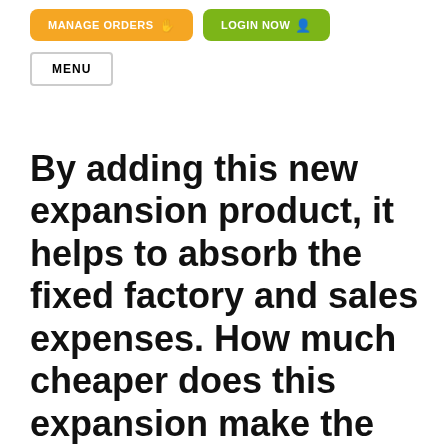MANAGE ORDERS  LOGIN NOW
MENU
By adding this new expansion product, it helps to absorb the fixed factory and sales expenses. How much cheaper does this expansion make the existing product?